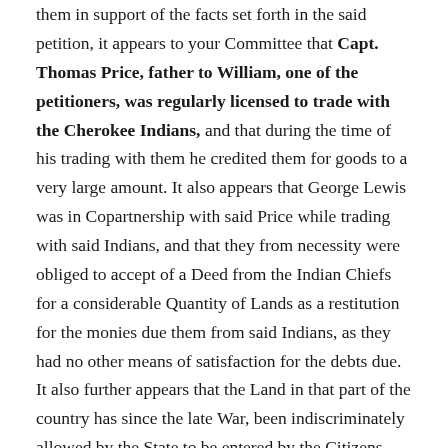them in support of the facts set forth in the said petition, it appears to your Committee that Capt. Thomas Price, father to William, one of the petitioners, was regularly licensed to trade with the Cherokee Indians, and that during the time of his trading with them he credited them for goods to a very large amount. It also appears that George Lewis was in Copartnership with said Price while trading with said Indians, and that they from necessity were obliged to accept of a Deed from the Indian Chiefs for a considerable Quantity of Lands as a restitution for the monies due them from said Indians, as they had no other means of satisfaction for the debts due. It also further appears that the Land in that part of the country has since the late War, been indiscriminately allowed by the State to be entered by the Citizens thereof. That previous to the opening of the Land office, Captain Price was killed in